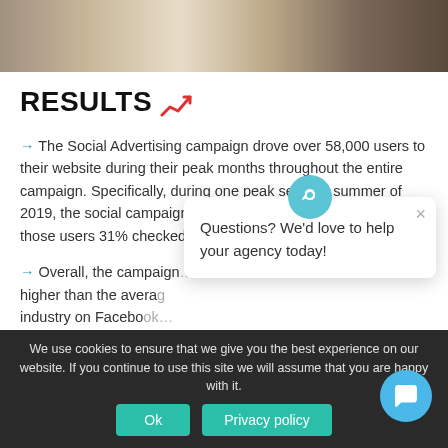[Figure (photo): Photo banner at top of page showing people, partially cropped]
RESULTS 📈
→ The Social Advertising campaign drove over 58,000 users to their website during their peak months throughout the entire campaign. Specifically, during one peak season, summer of 2019, the social campaign drove 26,269 to their website and of those users 31% checked for availability.
→ Overall, the campaign [higher than the average industry on Facebook...]
We use cookies to ensure that we give you the best experience on our website. If you continue to use this site we will assume that you are happy with it.